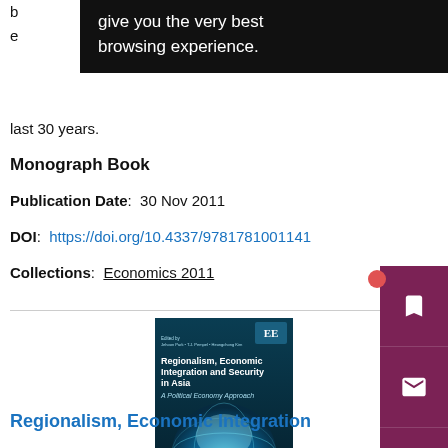give you the very best browsing experience.
last 30 years.
Monograph Book
Publication Date:  30 Nov 2011
DOI:  https://doi.org/10.4337/9781781001141
Collections:  Economics 2011
[Figure (photo): Book cover of 'Regionalism, Economic Integration and Security in Asia: A Political Economy Approach' published by Edward Elgar (EE), with a blue globe image on the cover.]
Regionalism, Economic Integration